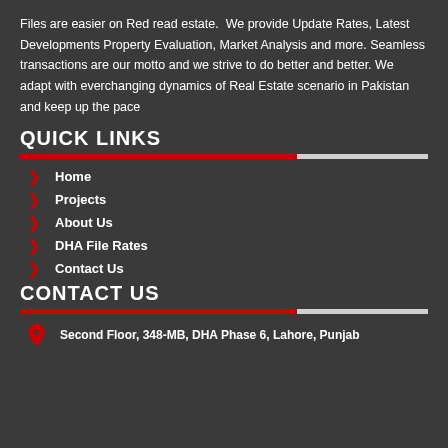Files are easier on Red read estate. We provide Update Rates, Latest Developments Property Evaluation, Market Analysis and more. Seamless transactions are our motto and we strive to do better and better. We adapt with everchanging dynamics of Real Estate scenario in Pakistan and keep up the pace
QUICK LINKS
Home
Projects
About Us
DHA File Rates
Contact Us
CONTACT US
Second Floor, 348-MB, DHA Phase 6, Lahore, Punjab